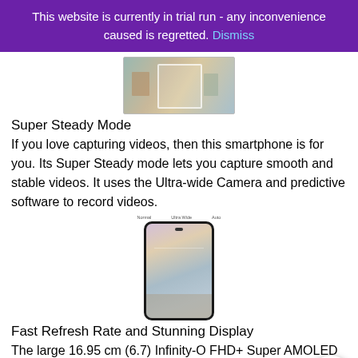This website is currently in trial run - any inconvenience caused is regretted. Dismiss
[Figure (photo): A hand holding a smartphone capturing a video of people running outdoors]
Super Steady Mode
If you love capturing videos, then this smartphone is for you. Its Super Steady mode lets you capture smooth and stable videos. It uses the Ultra-wide Camera and predictive software to record videos.
[Figure (photo): A smartphone displaying a wide-angle beach/ocean scene with a sunset sky, showing the phone's Infinity-O display and ultra-wide camera feature]
Fast Refresh Rate and Stunning Display
The large 16.95 cm (6.7) Infinity-O FHD+ Super AMOLED display ensures a clear and immersive viewing experience. With 800 nits brightness, yo